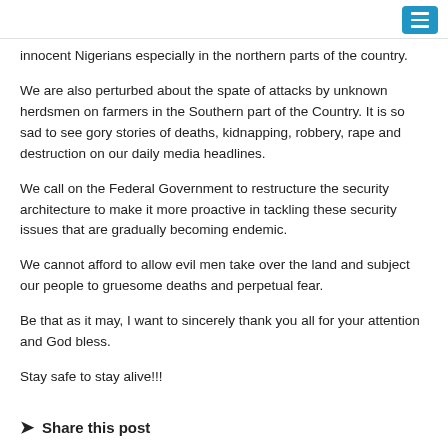innocent Nigerians especially in the northern parts of the country.
We are also perturbed about the spate of attacks by unknown herdsmen on farmers in the Southern part of the Country. It is so sad to see gory stories of deaths, kidnapping, robbery, rape and destruction on our daily media headlines.
We call on the Federal Government to restructure the security architecture to make it more proactive in tackling these security issues that are gradually becoming endemic.
We cannot afford to allow evil men take over the land and subject our people to gruesome deaths and perpetual fear.
Be that as it may, I want to sincerely thank you all for your attention and God bless.
Stay safe to stay alive!!!
Share this post